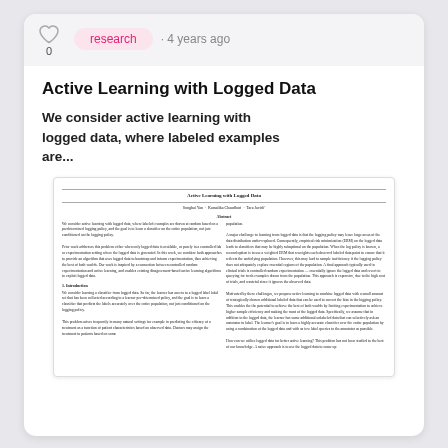research · 4 years ago
Active Learning with Logged Data
We consider active learning with logged data, where labeled examples are...
[Figure (screenshot): Screenshot thumbnail of the paper 'Active Learning with Logged Data' showing title, authors (Songbai Yan, Kamalika Chaudhuri, Tara Javidi), abstract, and introduction sections in a two-column academic format.]